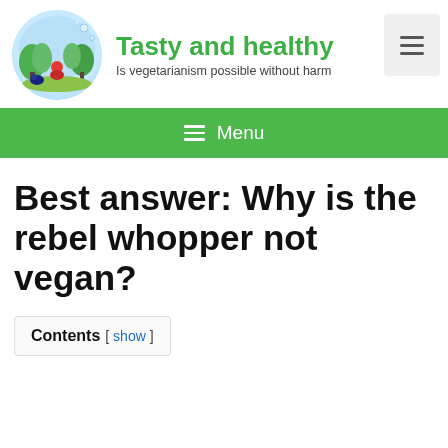Tasty and healthy — Is vegetarianism possible without harm
Best answer: Why is the rebel whopper not vegan?
Contents [ show ]